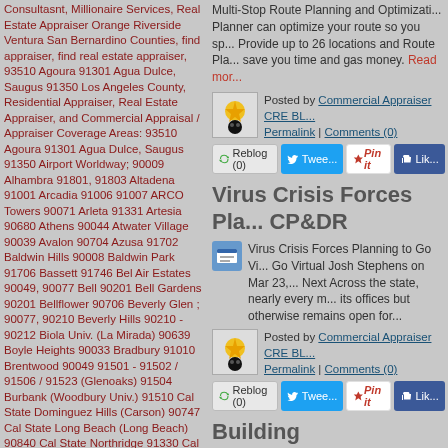Consultasnt, Millionaire Services, Real Estate Appraiser Orange Riverside Ventura San Bernardino Counties, find appraiser, find real estate appraiser, 93510 Agoura 91301 Agua Dulce, Saugus 91350 Los Angeles County, Residential Appraiser, Real Estate Appraiser, and Commercial Appraisal / Appraiser Coverage Areas: 93510 Agoura 91301 Agua Dulce, Saugus 91350 Airport Worldway; 90009 Alhambra 91801, 91803 Altadena 91001 Arcadia 91006 91007 ARCO Towers 90071 Arleta 91331 Artesia 90680 Athens 90044 Atwater Village 90039 Avalon 90704 Azusa 91702 Baldwin Hills 90008 Baldwin Park 91706 Bassett 91746 Bel Air Estates 90049, 90077 Bell 90201 Bell Gardens 90201 Bellflower 90706 Beverly Glen ; 90077, 90210 Beverly Hills 90210 - 90212 Biola Univ. (La Mirada) 90639 Boyle Heights 90033 Bradbury 91010 Brentwood 90049 91501 - 91502 / 91506 / 91523 (Glenoaks) 91504 Burbank (Woodbury Univ.) 91510 Cal State Dominguez Hills (Carson) 90747 Cal State Long Beach (Long Beach) 90840 Cal State Northridge 91330 Cal Tech (Pasadena) 91125, 91107
Multi-Stop Route Planning and Optimization Planner can optimize your route so you sp... Provide up to 26 locations and Route Pla... save you time and gas money. Read mor...
Posted by Commercial Appraiser CRE BL... Permalink | Comments (0)
Virus Crisis Forces Pla... CP&DR
Virus Crisis Forces Planning to Go Vi... Go Virtual Josh Stephens on Mar 23,... Next Across the state, nearly every m... its offices but otherwise remains open for...
Posted by Commercial Appraiser CRE BL... Permalink | Comments (0)
Building Technologies...